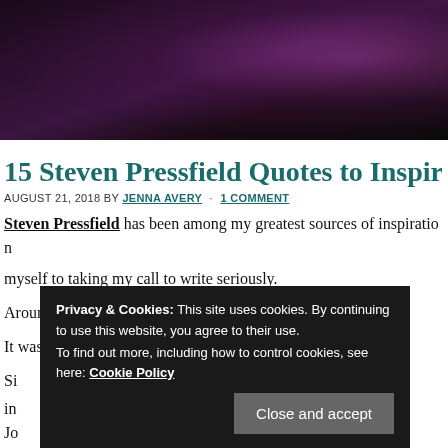[Figure (photo): Dark floral hero image with purple/magenta flowers against a near-black background]
15 Steven Pressfield Quotes to Inspire Your W
AUGUST 21, 2018 BY JENNA AVERY · 1 COMMENT
Steven Pressfield has been among my greatest sources of inspiration myself to taking my call to write seriously.
Around that time, a friend suggested I read The War of Art.
It was life-changing.
Si... w h... in... ew... Jo...
St... cornerstone for how I approach my writing practice, and what I do
Privacy & Cookies: This site uses cookies. By continuing to use this website, you agree to their use.
To find out more, including how to control cookies, see here: Cookie Policy
Close and accept